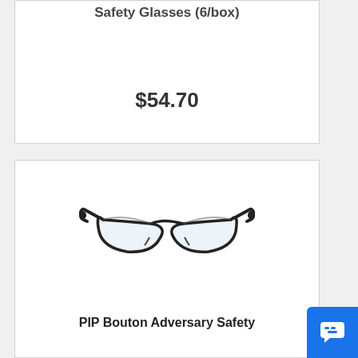Safety Glasses (6/box)
$54.70
[Figure (photo): Safety glasses with black frame and clear lenses — PIP Bouton Adversary style, sporty wrap-around design]
PIP Bouton Adversary Safety